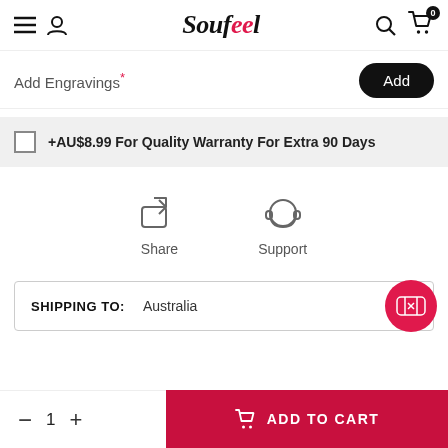Soufeel
Add Engravings*
+AU$8.99 For Quality Warranty For Extra 90 Days
[Figure (illustration): Share icon (square with arrow pointing up-right) and Support icon (headset/headphones)]
SHIPPING TO:  Australia
1  ADD TO CART